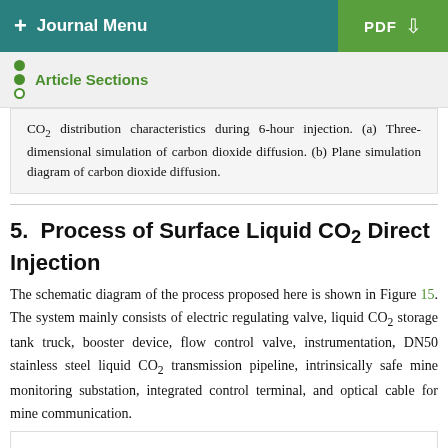+ Journal Menu   PDF
Article Sections
CO2 distribution characteristics during 6-hour injection. (a) Three-dimensional simulation of carbon dioxide diffusion. (b) Plane simulation diagram of carbon dioxide diffusion.
5. Process of Surface Liquid CO2 Direct Injection
The schematic diagram of the process proposed here is shown in Figure 15. The system mainly consists of electric regulating valve, liquid CO2 storage tank truck, booster device, flow control valve, instrumentation, DN50 stainless steel liquid CO2 transmission pipeline, intrinsically safe mine monitoring substation, integrated control terminal, and optical cable for mine communication.